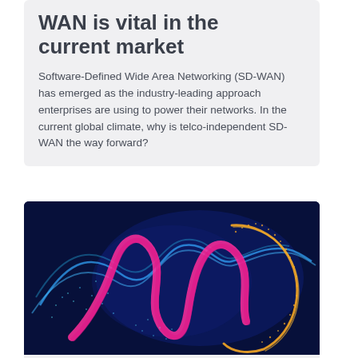WAN is vital in the current market
Software-Defined Wide Area Networking (SD-WAN) has emerged as the industry-leading approach enterprises are using to power their networks. In the current global climate, why is telco-independent SD-WAN the way forward?
[Figure (illustration): Abstract digital illustration of a human head profile made of colorful glowing wave particles in pink, blue, and gold on a dark navy background, representing artificial intelligence.]
ARTIFICIAL INTELLIGENCE
AI and metaverse to take centre